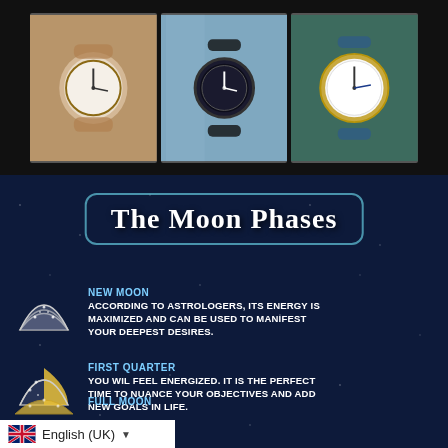[Figure (photo): Three watch photos side by side on dark background: left shows a minimalist brown-strapped watch on a wrist, center shows a dark-strapped watch on a floral-sleeved wrist, right shows a white-faced watch with gold case on a teal strap]
The Moon Phases
NEW MOON
ACCORDING TO ASTROLOGERS, ITS ENERGY IS MAXIMIZED AND CAN BE USED TO MANIFEST YOUR DEEPEST DESIRES.
FIRST QUARTER
YOU WIL FEEL ENERGIZED. IT IS THE PERFECT TIME TO NUANCE YOUR OBJECTIVES AND ADD NEW GOALS IN LIFE.
FULL MOON
English (UK)